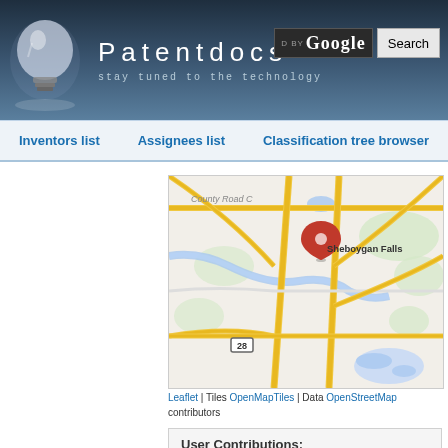Patentdocs — stay tuned to the technology
Inventors list | Assignees list | Classification tree browser
[Figure (map): Map showing Sheboygan Falls, Wisconsin area with roads including County Road C and highway 28, with a red location pin marker on Sheboygan Falls]
Leaflet | Tiles OpenMapTiles | Data OpenStreetMap contributors
User Contributions: